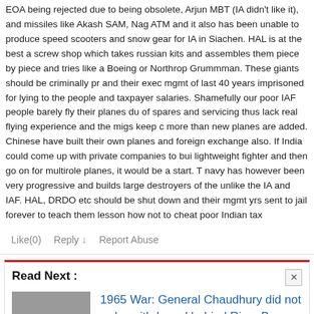EOA being rejected due to being obsolete, Arjun MBT (IA didn't like it), and missiles like Akash SAM, Nag ATM and it also has been unable to produce speed scooters and snow gear for IA in Siachen. HAL is at the best a screw shop which takes russian kits and assembles them piece by piece and tries like a Boeing or Northrop Grummman. These giants should be criminally pr and their exec mgmt of last 40 years imprisoned for lying to the people and taxpayer salaries. Shamefully our poor IAF people barely fly their planes du of spares and servicing thus lack real flying experience and the migs keep c more than new planes are added. Chinese have built their own planes and foreign exchange also. If India could come up with private companies to bui lightweight fighter and then go on for multirole planes, it would be a start. T navy has however been very progressive and builds large destroyers of the unlike the IA and IAF. HAL, DRDO etc should be shut down and their mgmt yrs sent to jail forever to teach them lesson how not to cheat poor Indian tax
Like(0)   Reply ↓   Report Abuse
Read Next :
[Figure (photo): Black and white photograph showing soldiers or military personnel in a field scene, related to 1965 War content.]
1965 War: General Chaudhury did not order withdrawal behind River Beas